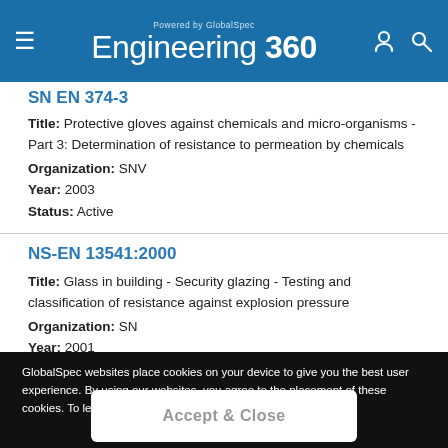Engineering 360 - Powered by GlobalSpec
SN EN 374-3
Title: Protective gloves against chemicals and micro-organisms - Part 3: Determination of resistance to permeation by chemicals
Organization: SNV
Year: 2003
Status: Active
NS-EN 13541:2000
Title: Glass in building - Security glazing - Testing and classification of resistance against explosion pressure
Organization: SN
Year: 2001
Status: Inactive
GlobalSpec websites place cookies on your device to give you the best user experience. By using our websites, you agree to the placement of these cookies. To learn more, read our Privacy Policy
Accept & Close